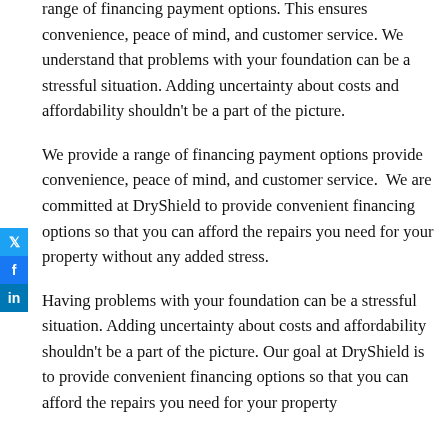range of financing payment options. This ensures convenience, peace of mind, and customer service. We understand that problems with your foundation can be a stressful situation. Adding uncertainty about costs and affordability shouldn't be a part of the picture.
We provide a range of financing payment options provide convenience, peace of mind, and customer service. We are committed at DryShield to provide convenient financing options so that you can afford the repairs you need for your property without any added stress.
Having problems with your foundation can be a stressful situation. Adding uncertainty about costs and affordability shouldn't be a part of the picture. Our goal at DryShield is to provide convenient financing options so that you can afford the repairs you need for your property